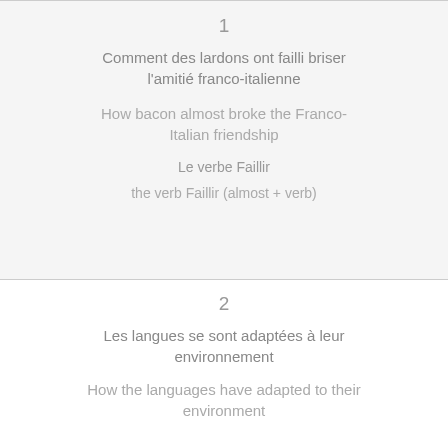1
Comment des lardons ont failli briser l'amitié franco-italienne
How bacon almost broke the Franco-Italian friendship
Le verbe Faillir
the verb Faillir (almost + verb)
2
Les langues se sont adaptées à leur environnement
How the languages have adapted to their environment